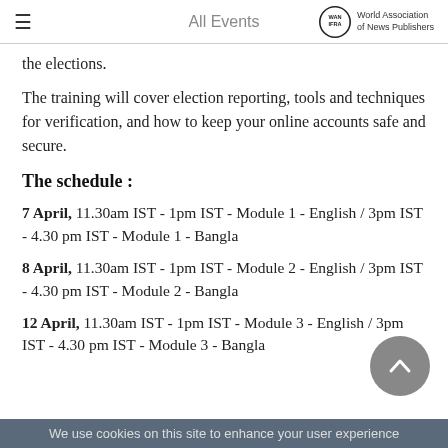All Events | World Association of News Publishers
the elections.
The training will cover election reporting, tools and techniques for verification, and how to keep your online accounts safe and secure.
The schedule :
7 April, 11.30am IST - 1pm IST - Module 1 - English / 3pm IST - 4.30 pm IST - Module 1 - Bangla
8 April, 11.30am IST - 1pm IST - Module 2 - English / 3pm IST - 4.30 pm IST - Module 2 - Bangla
12 April, 11.30am IST - 1pm IST - Module 3 - English / 3pm IST - 4.30 pm IST - Module 3 - Bangla
We use cookies on this site to enhance your user experience